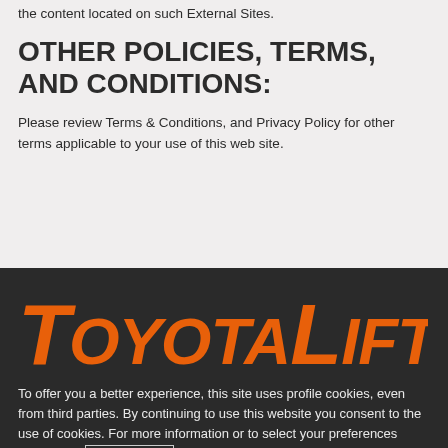the content located on such External Sites.
OTHER POLICIES, TERMS, AND CONDITIONS:
Please review Terms & Conditions, and Privacy Policy for other terms applicable to your use of this web site.
[Figure (logo): ToyotaLift logo in orange italic bold text on dark background]
To offer you a better experience, this site uses profile cookies, even from third parties. By continuing to use this website you consent to the use of cookies. For more information or to select your preferences consult our Privacy Policy